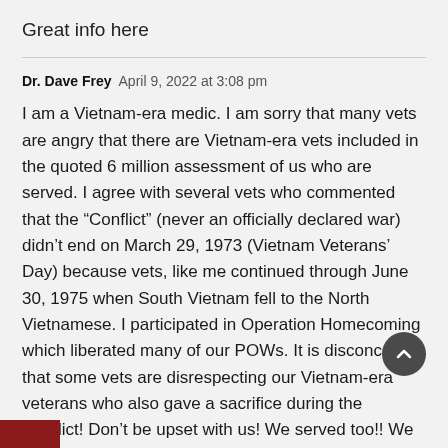Great info here
Dr. Dave Frey   April 9, 2022 at 3:08 pm
I am a Vietnam-era medic. I am sorry that many vets are angry that there are Vietnam-era vets included in the quoted 6 million assessment of us who are served. I agree with several vets who commented that the “Conflict” (never an officially declared war) didn’t end on March 29, 1973 (Vietnam Veterans’ Day) because vets, like me continued through June 30, 1975 when South Vietnam fell to the North Vietnamese. I participated in Operation Homecoming which liberated many of our POWs. It is disconcerting that some vets are disrespecting our Vietnam-era veterans who also gave a sacrifice during the Conflict! Don’t be upset with us! We served too!! We are